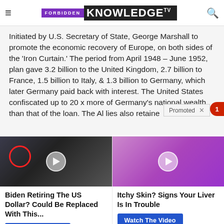FORBIDDEN KNOWLEDGE TV
Initiated by U.S. Secretary of State, George Marshall to promote the economic recovery of Europe, on both sides of the 'Iron Curtain.' The period from April 1948 – June 1952, plan gave 3.2 billion to the United Kingdom, 2.7 billion to France, 1.5 billion to Italy, & 1.3 billion to Germany, which later Germany paid back with interest. The United States confiscated up to 20 x more of Germany's national wealth, than that of the loan. The Al lies also retained
[Figure (screenshot): Group of people in formal attire standing on CIA seal floor, with red circle highlighting one person, play button overlay]
Biden Retiring The US Dollar? Could Be Replaced With This...
[Figure (illustration): Illustration of a person's back with hand reaching, on purple background, play button overlay; health advertisement]
Itchy Skin? Signs Your Liver Is In Trouble